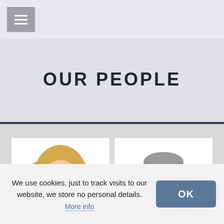Navigation menu button (hamburger icon)
OUR PEOPLE
[Figure (photo): Headshot of a woman with long blonde hair, smiling, on a white background]
[Figure (photo): Headshot of a man with short grey hair and beard wearing glasses, on a white background]
We use cookies, just to track visits to our website, we store no personal details.
More info
OK